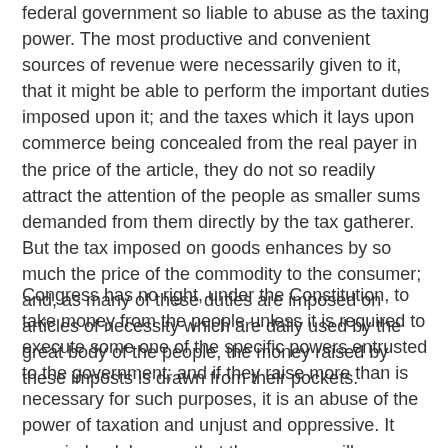federal government so liable to abuse as the taxing power. The most productive and convenient sources of revenue were necessarily given to it, that it might be able to perform the important duties imposed upon it; and the taxes which it lays upon commerce being concealed from the real payer in the price of the article, they do not so readily attract the attention of the people as smaller sums demanded from them directly by the tax gatherer. But the tax imposed on goods enhances by so much the price of the commodity to the consumer; and, as many of these duties are imposed on articles of necessity which are daily used by the great body of the people, the money raised by these imposts is drawn from their pockets.
Congress has no right, under the Constitution, to take money from the people unless it is required to execute some one of the specific powers entrusted to the government; and if they raise more than is necessary for such purposes, it is an abuse of the power of taxation and unjust and oppressive. It may, indeed, happen that the revenue will sometimes exceed the amount anticipated when the taxes were laid. When, however, this is ascertained, it is easy to reduce